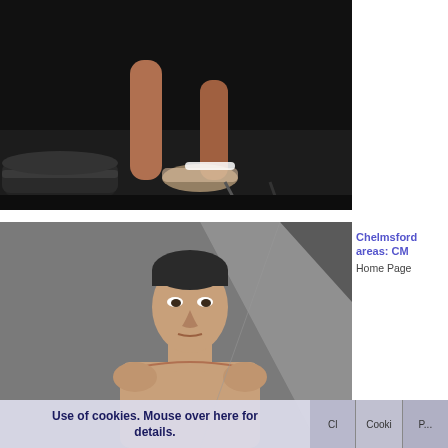[Figure (photo): Close-up photo of feet: one wearing clear/transparent high-heeled mule shoes on a dark stage floor, next to a dark sneaker on the left.]
[Figure (photo): Photo of a shirtless lean man with short dark hair looking slightly to the right, against a grey angular background.]
Chelmsford areas: CM
Home Page
Use of cookies. Mouse over here for details.